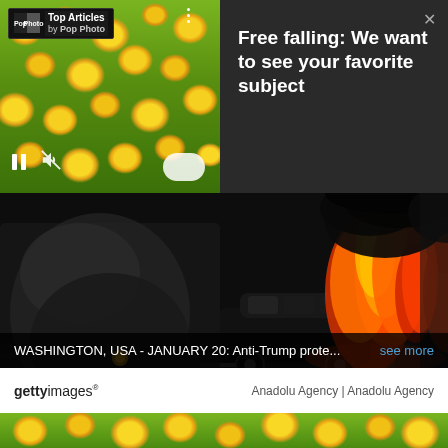[Figure (screenshot): Top section: left panel shows yellow flowers with video player controls (pause, mute icons) and a white oval shape. Overlaid is a 'Top Articles by Pop Photo' widget bar. Right panel is dark gray with headline text and X close button.]
Top Articles by Pop Photo
Free falling: We want to see your favorite subject
[Figure (photo): News photo of a limousine on fire in a street, with large orange flames and black smoke. A blurred figure in dark clothing is in the foreground. Caption reads: WASHINGTON, USA - JANUARY 20: Anti-Trump prote...]
WASHINGTON, USA - JANUARY 20: Anti-Trump prote...
see more
gettyimages®  Anadolu Agency | Anadolu Agency
[Figure (photo): Bottom strip showing yellow flowers, same as the top panel.]